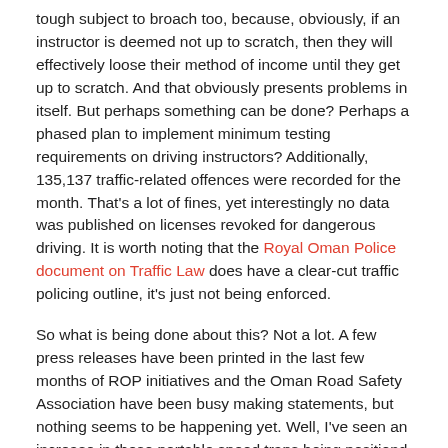tough subject to broach too, because, obviously, if an instructor is deemed not up to scratch, then they will effectively loose their method of income until they get up to scratch. And that obviously presents problems in itself. But perhaps something can be done? Perhaps a phased plan to implement minimum testing requirements on driving instructors? Additionally, 135,137 traffic-related offences were recorded for the month. That's a lot of fines, yet interestingly no data was published on licenses revoked for dangerous driving. It is worth noting that the Royal Oman Police document on Traffic Law does have a clear-cut traffic policing outline, it's just not being enforced.
So what is being done about this? Not a lot. A few press releases have been printed in the last few months of ROP initiatives and the Oman Road Safety Association have been busy making statements, but nothing seems to be happening yet. Well, I've seen an increase in those portable speed traps being positiond